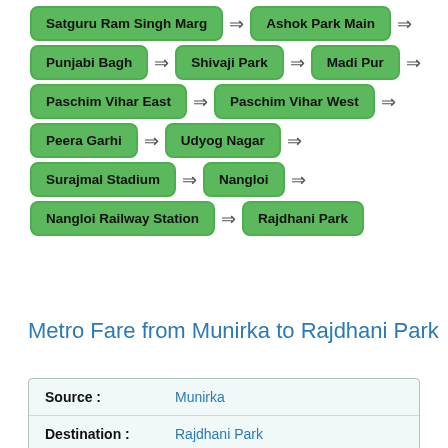[Figure (flowchart): Flowchart of Delhi Metro station sequence: Satguru Ram Singh Marg → Ashok Park Main →, Punjabi Bagh → Shivaji Park → Madi Pur →, Paschim Vihar East → Paschim Vihar West →, Peera Garhi → Udyog Nagar →, Surajmal Stadium → Nangloi →, Nangloi Railway Station → Rajdhani Park]
Metro Fare from Munirka to Rajdhani Park
| Source : | Munirka |
| Destination : | Rajdhani Park |